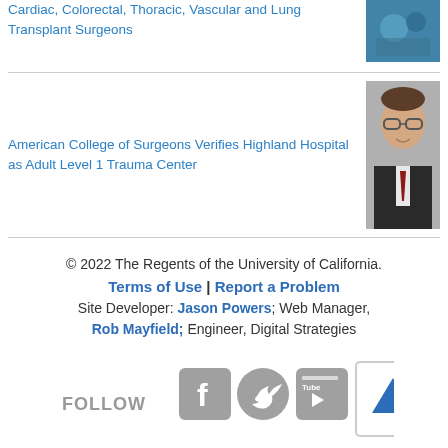Cardiac, Colorectal, Thoracic, Vascular and Lung Transplant Surgeons
American College of Surgeons Verifies Highland Hospital as Adult Level 1 Trauma Center
[Figure (photo): Surgery team photo thumbnail - blue/teal toned]
[Figure (photo): Portrait photo of a man with glasses in a suit, smiling]
© 2022 The Regents of the University of California. Terms of Use | Report a Problem Site Developer: Jason Powers; Web Manager, Rob Mayfield; Engineer, Digital Strategies
[Figure (other): Social media follow icons: FOLLOW text, Facebook, Twitter, YouTube icons, and back-to-top arrow button]